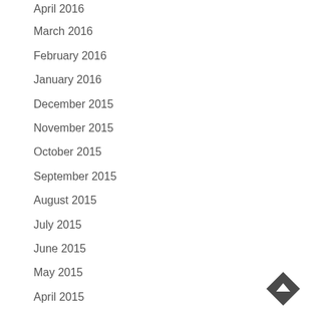April 2016
March 2016
February 2016
January 2016
December 2015
November 2015
October 2015
September 2015
August 2015
July 2015
June 2015
May 2015
April 2015
March 2015
[Figure (other): Back to top button: dark grey diamond/rotated square shape with an upward pointing triangle/arrow inside]